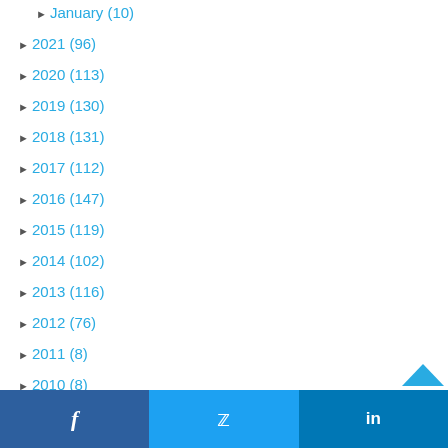► January (10)
► 2021 (96)
► 2020 (113)
► 2019 (130)
► 2018 (131)
► 2017 (112)
► 2016 (147)
► 2015 (119)
► 2014 (102)
► 2013 (116)
► 2012 (76)
► 2011 (8)
► 2010 (8)
f   🐦   in